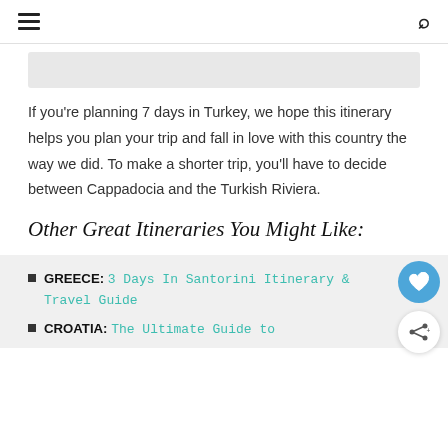≡  🔍
If you're planning 7 days in Turkey, we hope this itinerary helps you plan your trip and fall in love with this country the way we did. To make a shorter trip, you'll have to decide between Cappadocia and the Turkish Riviera.
Other Great Itineraries You Might Like:
GREECE: 3 Days In Santorini Itinerary & Travel Guide
CROATIA: The Ultimate Guide to